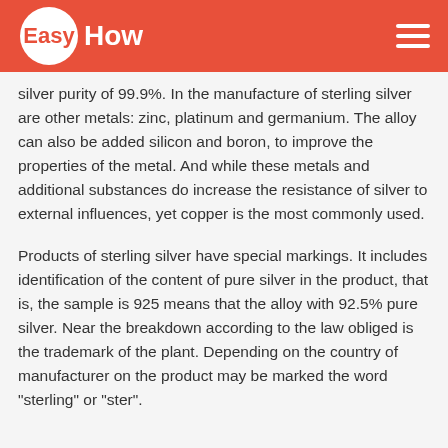EasyHow
silver purity of 99.9%. In the manufacture of sterling silver are other metals: zinc, platinum and germanium. The alloy can also be added silicon and boron, to improve the properties of the metal. And while these metals and additional substances do increase the resistance of silver to external influences, yet copper is the most commonly used.
Products of sterling silver have special markings. It includes identification of the content of pure silver in the product, that is, the sample is 925 means that the alloy with 92.5% pure silver. Near the breakdown according to the law obliged is the trademark of the plant. Depending on the country of manufacturer on the product may be marked the word "sterling" or "ster".